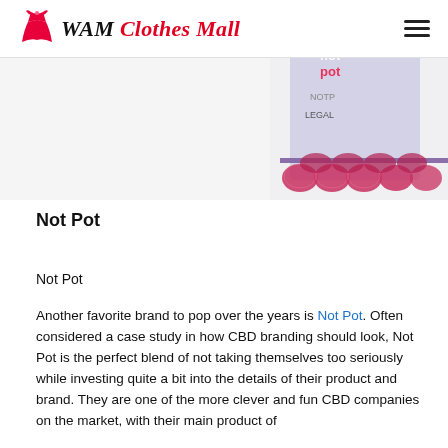[Figure (logo): WAM Clothes Mall logo with pink dress icon and stylized italic text, plus hamburger menu icon on the right]
[Figure (photo): Product image of Not Pot CBD gummies - red/pink round candies with branded packaging showing 'not pot' and 'LEGAL' text]
Not Pot
Not Pot
Another favorite brand to pop over the years is Not Pot. Often considered a case study in how CBD branding should look, Not Pot is the perfect blend of not taking themselves too seriously while investing quite a bit into the details of their product and brand. They are one of the more clever and fun CBD companies on the market, with their main product of